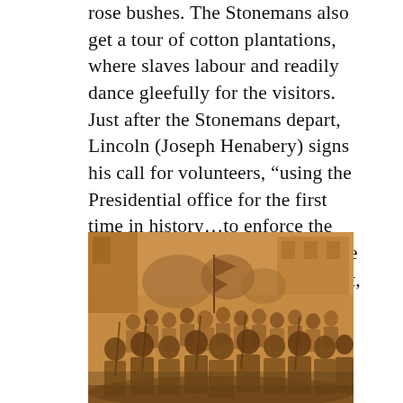rose bushes. The Stonemans also get a tour of cotton plantations, where slaves labour and readily dance gleefully for the visitors. Just after the Stonemans depart, Lincoln (Joseph Henabery) signs his call for volunteers, “using the Presidential office for the first time in history…to enforce the rule of the coming nation over the individual states.” War breaks out, and the Cameron sons join the Confederate cause.
[Figure (photo): A sepia-toned historical photograph showing a large crowd of Confederate soldiers marching or assembled, carrying flags, with buildings visible in the background.]